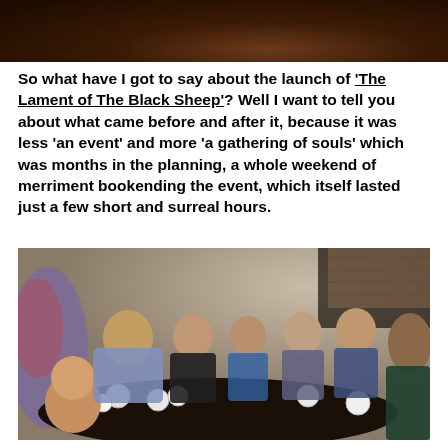[Figure (photo): Partial photo at top of page, dark background showing what appears to be a coffee cup and dark tones]
So what have I got to say about the launch of 'The Lament of The Black Sheep'? Well I want to tell you about what came before and after it, because it was less 'an event' and more 'a gathering of souls' which was months in the planning, a whole weekend of merriment bookending the event, which itself lasted just a few short and surreal hours.
[Figure (photo): Group photo of approximately 9 people sitting around a table in a cafe, with coffee cups and saucers on the table, people are smiling and laughing]